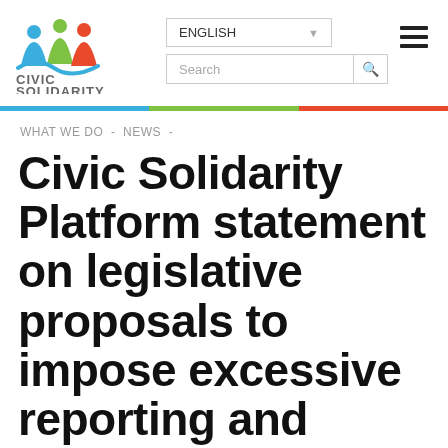[Figure (logo): Civic Solidarity logo with colorful human figures (blue, green, red) and text CIVIC SOLIDARITY below]
ENGLISH ▾
Search
WHAT WE DO  -  NEWS  -
Civic Solidarity Platform statement on legislative proposals to impose excessive reporting and control requirements on